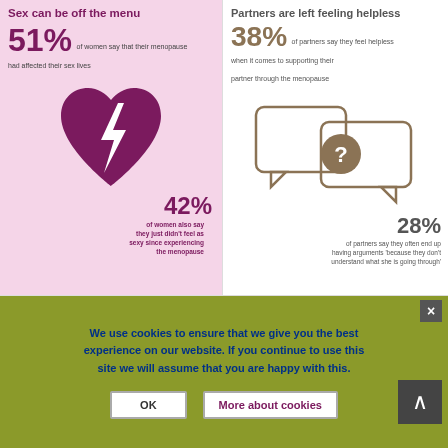[Figure (infographic): Sex can be off the menu panel: 51% of women say that their menopause had affected their sex lives. Heart with lightning bolt graphic. 42% of women also say they just didn't feel as sexy since experiencing the menopause.]
[Figure (infographic): Partners are left feeling helpless panel: 38% of partners say they feel helpless when it comes to supporting their partner through the menopause. Speech bubble with question mark graphic. 28% of partners say they often end up having arguments 'because they don't understand what she is going through'.]
† Editor currently working a few menopause symptoms comparable GP have experienced menopause symptoms within the last two years. •• Women may spouse symptoms strongly affected their life.
About the findings in this infographic: On behalf of the British Menopause Society, Edelman Intelligence conducted online interviews with 1,000 adults in the UK (698 women and 302 men) who were aged 45+ and either peri-menopausal, menopausal or post-menopausal or partners of those who are in a relationship with a woman who is either peri-menopausal, menopausal or post-menopausal, nationally representative of the online population in terms of regional spread.
[Figure (logo): Women's Health Concern logo - teal green background with white text]
For further information and support, including our telephone and email advisory service – please visit:
www.womens-health-concern.org
[Figure (logo): BMS British Menopause Society logo - dark blue background with white text]
We use cookies to ensure that we give you the best experience on our website. If you continue to use this site we will assume that you are happy with this.
OK
More about cookies